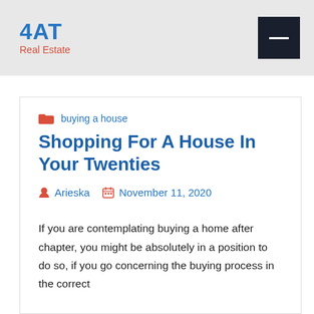4AT Real Estate
buying a house
Shopping For A House In Your Twenties
Arieska   November 11, 2020
If you are contemplating buying a home after chapter, you might be absolutely in a position to do so, if you go concerning the buying process in the correct